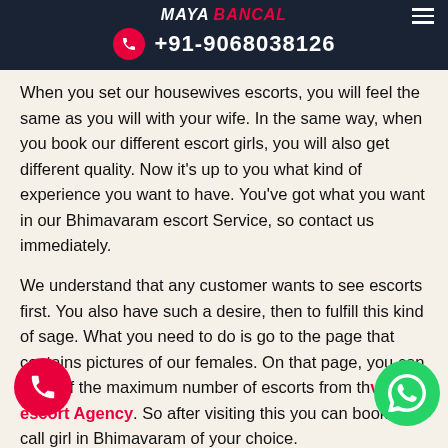MAYA BANCAL | +91-9068038126
When you set our housewives escorts, you will feel the same as you will with your wife. In the same way, when you book our different escort girls, you will also get different quality. Now it’s up to you what kind of experience you want to have. You’ve got what you want in our Bhimavaram escort Service, so contact us immediately.
We understand that any customer wants to see escorts first. You also have such a desire, then to fulfill this kind of sage. What you need to do is go to the page that contains pictures of our females. On that page, you can get s of the maximum number of escorts from the aram escort Agency. So after visiting this you can book a call girl in Bhimavaram of your choice.